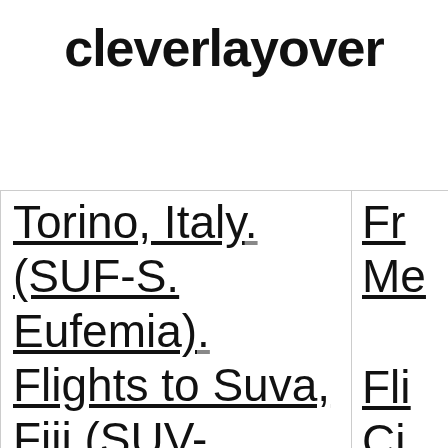cleverlayover
Torino, Italy (SUF-S. Eufemia)
Flights to Suva, Fiji (SUV-Nausori)
Fr Me
Fli Ci Si